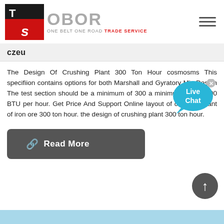[Figure (logo): TS OBOR - One Belt One Road Trade Service logo with red/black icon and grey OBOR text]
czeu
The Design Of Crushing Plant 300 Ton Hour cosmosms This specifiion contains options for both Marshall and Gyratory Mix Design The test section should be a minimum of 300 a minimum of 240,000 BTU per hour. Get Price And Support Online layout of crushing plant of iron ore 300 ton hour. the design of crushing plant 300 ton hour.
[Figure (illustration): Live Chat speech bubble icon in cyan/blue]
Read More
[Figure (illustration): Back to top circular button with up arrow]